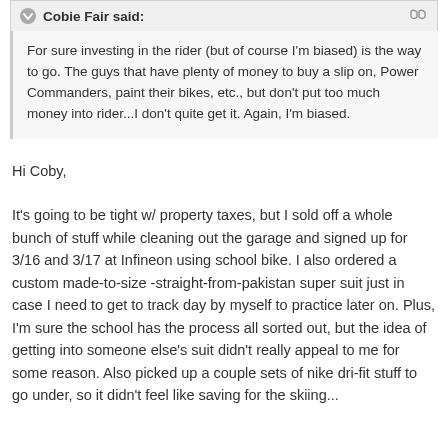Cobie Fair said:
For sure investing in the rider (but of course I'm biased) is the way to go. The guys that have plenty of money to buy a slip on, Power Commanders, paint their bikes, etc., but don't put too much money into rider...I don't quite get it. Again, I'm biased.
Hi Coby,
It's going to be tight w/ property taxes, but I sold off a whole bunch of stuff while cleaning out the garage and signed up for 3/16 and 3/17 at Infineon using school bike. I also ordered a custom made-to-size -straight-from-pakistan super suit just in case I need to get to track day by myself to practice later on. Plus, I'm sure the school has the process all sorted out, but the idea of getting into someone else's suit didn't really appeal to me for some reason. Also picked up a couple sets of nike dri-fit stuff to go under, so it didn't feel like saving for the skiing...